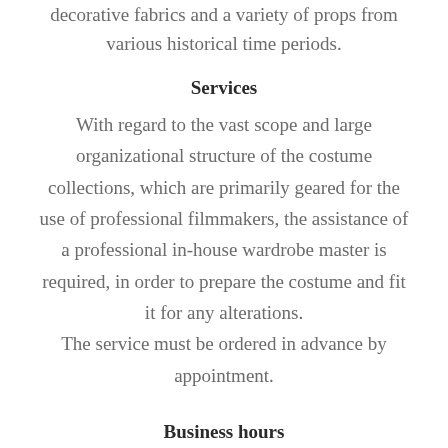decorative fabrics and a variety of props from various historical time periods.
Services
With regard to the vast scope and large organizational structure of the costume collections, which are primarily geared for the use of professional filmmakers, the assistance of a professional in-house wardrobe master is required, in order to prepare the costume and fit it for any alterations. The service must be ordered in advance by appointment.
Business hours
Mon–Fri 7 am–3:30 pm